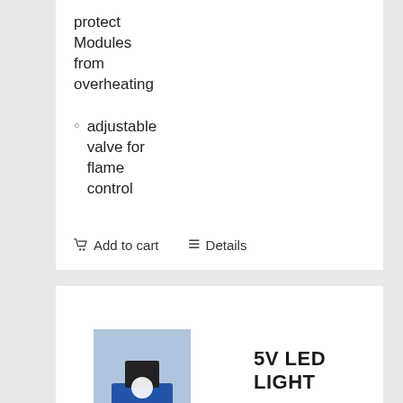protect Modules from overheating
adjustable valve for flame control
Add to cart   Details
[Figure (photo): Photo of 5V LED light product showing a lamp on a blue base with power cord]
5V LED LIGHT
$10.99 USD